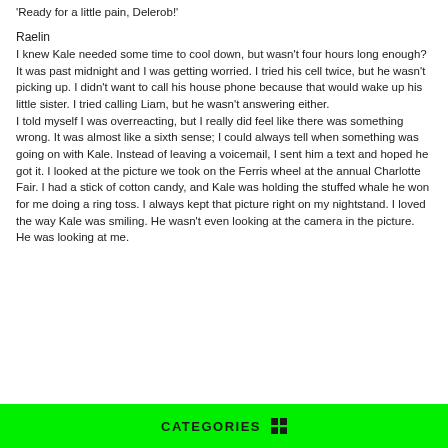'Ready for a little pain, Delerob!'
Raelin
I knew Kale needed some time to cool down, but wasn't four hours long enough? It was past midnight and I was getting worried. I tried his cell twice, but he wasn't picking up. I didn't want to call his house phone because that would wake up his little sister. I tried calling Liam, but he wasn't answering either.
I told myself I was overreacting, but I really did feel like there was something wrong. It was almost like a sixth sense; I could always tell when something was going on with Kale. Instead of leaving a voicemail, I sent him a text and hoped he got it. I looked at the picture we took on the Ferris wheel at the annual Charlotte Fair. I had a stick of cotton candy, and Kale was holding the stuffed whale he won for me doing a ring toss. I always kept that picture right on my nightstand. I loved the way Kale was smiling. He wasn't even looking at the camera in the picture.
He was looking at me.
CATEGORIES